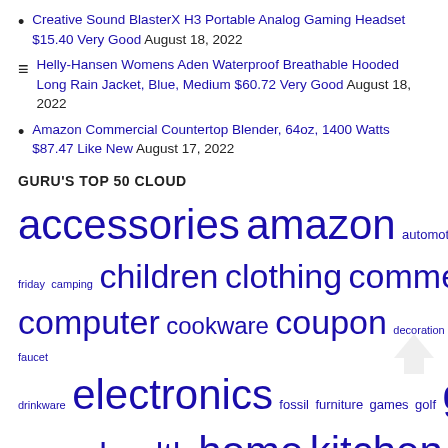Creative Sound BlasterX H3 Portable Analog Gaming Headset $15.40 Very Good August 18, 2022
Helly-Hansen Womens Aden Waterproof Breathable Hooded Long Rain Jacket, Blue, Medium $60.72 Very Good August 18, 2022
Amazon Commercial Countertop Blender, 64oz, 1400 Watts $87.47 Like New August 17, 2022
GURU'S TOP 50 CLOUD
accessories amazon automotive bedding biking black friday camping children clothing commercial computer cookware coupon decoration delta faucet drinkware electronics fossil furniture games golf grocery handbags health home kitchen led LEGO lighting like new luggage men music new office philips piel leather plumbing S&S samsung seasonal shoes sports